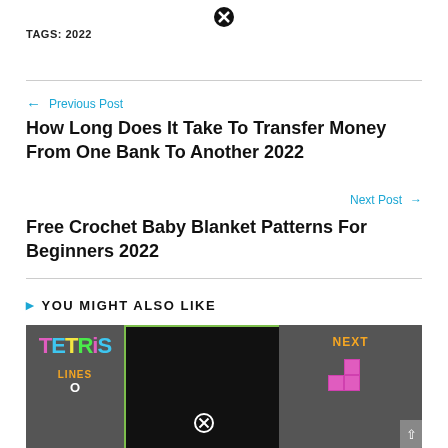TAGS: 2022
← Previous Post
How Long Does It Take To Transfer Money From One Bank To Another 2022
Next Post →
Free Crochet Baby Blanket Patterns For Beginners 2022
> YOU MIGHT ALSO LIKE
[Figure (screenshot): Tetris game screenshot showing game board with NEXT piece panel on the right and LINES/score on the left]